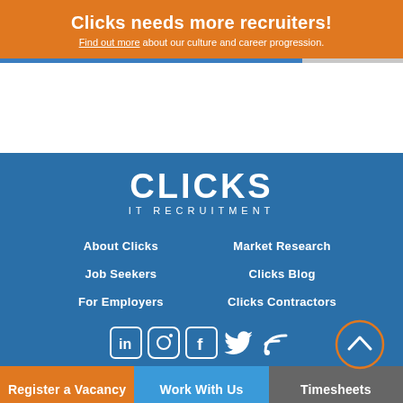Clicks needs more recruiters!
Find out more about our culture and career progression.
[Figure (logo): Clicks IT Recruitment logo in white text on blue background]
About Clicks
Market Research
Job Seekers
Clicks Blog
For Employers
Clicks Contractors
[Figure (infographic): Social media icons: LinkedIn, Instagram, Facebook, Twitter, RSS]
Register a Vacancy
Work With Us
Timesheets